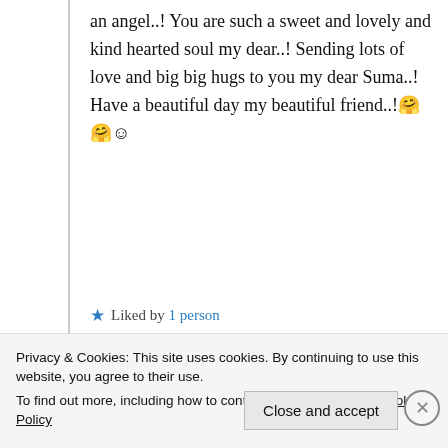an angel..! You are such a sweet and lovely and kind hearted soul my dear..! Sending lots of love and big big hugs to you my dear Suma..! Have a beautiful day my beautiful friend..!🤗🤗☺
★ Liked by 1 person
Log in to Reply
Suma Reddy
Privacy & Cookies: This site uses cookies. By continuing to use this website, you agree to their use. To find out more, including how to control cookies, see here: Cookie Policy
Close and accept